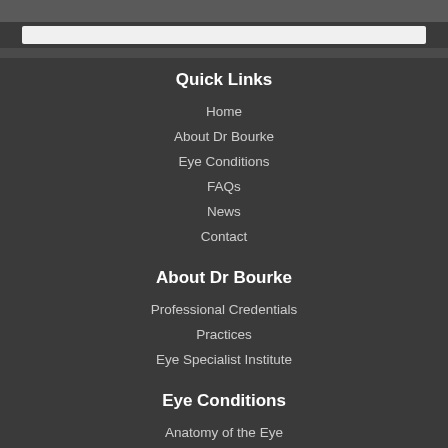Quick Links
Home
About Dr Bourke
Eye Conditions
FAQs
News
Contact
About Dr Bourke
Professional Credentials
Practices
Eye Specialist Institute
Eye Conditions
Anatomy of the Eye
Macular Degeneration
Macular hole
Epiretinal membrane